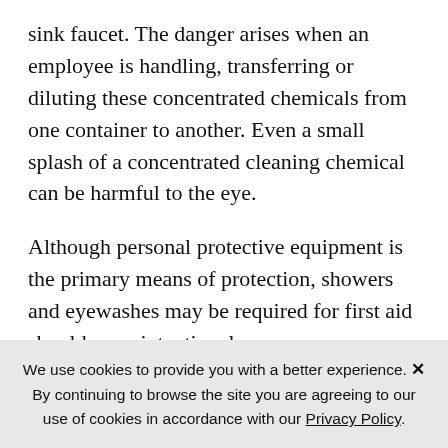sink faucet. The danger arises when an employee is handling, transferring or diluting these concentrated chemicals from one container to another. Even a small splash of a concentrated cleaning chemical can be harmful to the eye.
Although personal protective equipment is the primary means of protection, showers and eyewashes may be required for first aid should an unintentional exposure occur. OSHA 29 CFR 1910.151(c) requires suitable drenching and flushing facilities in locations where employees may be exposed to hazardous materials, and
We use cookies to provide you with a better experience. ✕ By continuing to browse the site you are agreeing to our use of cookies in accordance with our Privacy Policy.